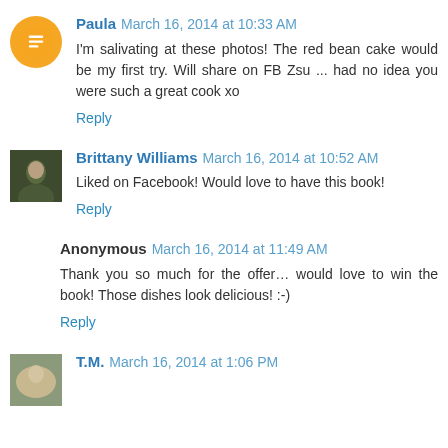Paula March 16, 2014 at 10:33 AM
I'm salivating at these photos! The red bean cake would be my first try. Will share on FB Zsu ... had no idea you were such a great cook xo
Reply
Brittany Williams March 16, 2014 at 10:52 AM
Liked on Facebook! Would love to have this book!
Reply
Anonymous March 16, 2014 at 11:49 AM
Thank you so much for the offer… would love to win the book! Those dishes look delicious! :-)
Reply
T.M. March 16, 2014 at 1:06 PM